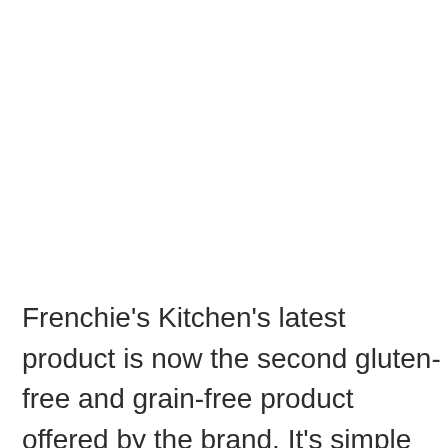Frenchie's Kitchen's latest product is now the second gluten-free and grain-free product offered by the brand. It's simple and clean ingredient list includes 100% USDA white fish, carrots, green beans, potatoes, celery, peas, broccoli, spinach, eggs, kale, eggshell calcium, organic flaxseed, and other natural ingredients.